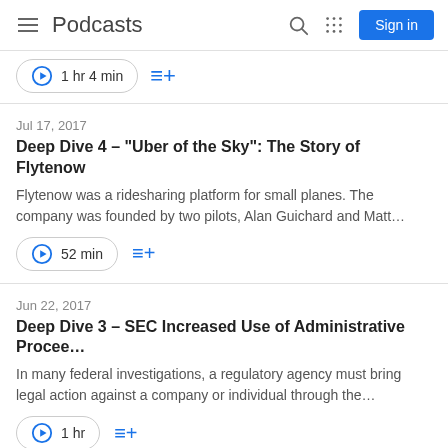Podcasts
1 hr 4 min
Jul 17, 2017
Deep Dive 4 – "Uber of the Sky": The Story of Flytenow
Flytenow was a ridesharing platform for small planes. The company was founded by two pilots, Alan Guichard and Matt…
52 min
Jun 22, 2017
Deep Dive 3 – SEC Increased Use of Administrative Procee…
In many federal investigations, a regulatory agency must bring legal action against a company or individual through the…
1 hr
Jun 9, 2017
Deep Dive 2 – Regulatory Transparency Project: What and